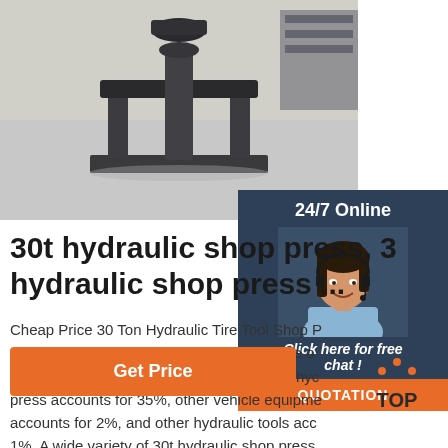[Figure (photo): Photo of a black 30t hydraulic shop press machine on a concrete floor]
[Figure (infographic): 24/7 Online chat widget with dark blue background, female customer service agent with headset, 'Click here for free chat!' text, and an orange QUOTATION button]
30t hydraulic shop press, 30t hydraulic shop press ...
Cheap Price 30 Ton Hydraulic Tire Tool Shop P... 4,105 30t hydraulic shop press products are o... sale by suppliers on Alibaba.com, of which hyc... press accounts for 35%, other vehicle equipme... accounts for 2%, and other hydraulic tools acc... 1%. A wide variety of 30t hydraulic shop press... available to you, such ...
Get Price
[Figure (logo): TOP logo with orange dots arranged in a triangle above the letters TOP]